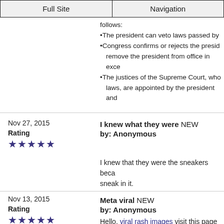Full Site | Navigation
follows:
•The president can veto laws passed by
•Congress confirms or rejects the presid... remove the president from office in exce
•The justices of the Supreme Court, who laws, are appointed by the president and
Nov 27, 2015
Rating
★★★★★
I knew what they were NEW
by: Anonymous
I knew that they were the sneakers beca sneak in it.
Nov 13, 2015
Rating
★★★★★
Meta viral NEW
by: Anonymous
Hello, viral rash images visit this page fo